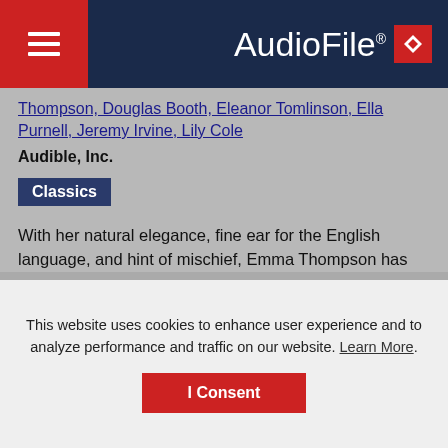AudioFile
Thompson, Douglas Booth, Eleanor Tomlinson, Ella Purnell, Jeremy Irvine, Lily Cole
Audible, Inc.
Classics
With her natural elegance, fine ear for the English language, and hint of mischief, Emma Thompson has the ideal voice to narrate this Jane Austen classic. The first to be written (1798) and the last to be published after Austen’s death (1818), the gentle gothic satire concerns clergyman’s daughter Catherine Morland, who is introduced to high society with all its manners, teas,... Read More
This website uses cookies to enhance user experience and to analyze performance and traffic on our website. Learn More. I Consent